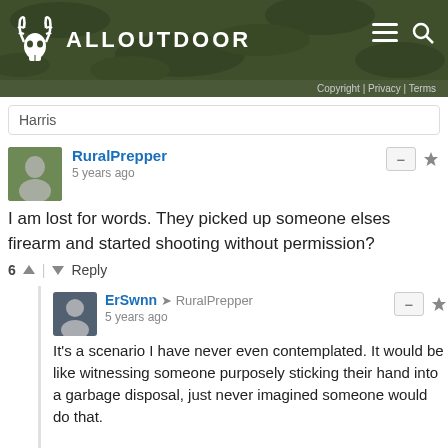ALLOUTDOOR
Copyright | Privacy | Terms
Harris
RuralPrepper
5 years ago
I am lost for words. They picked up someone elses firearm and started shooting without permission?
6  ^  |  v  Reply
ErSwnn → RuralPrepper
5 years ago
It's a scenario I have never even contemplated. It would be like witnessing someone purposely sticking their hand into a garbage disposal, just never imagined someone would do that.

Can't help but figure the results would be similar, even if just figuratively.
^  |  v  Reply